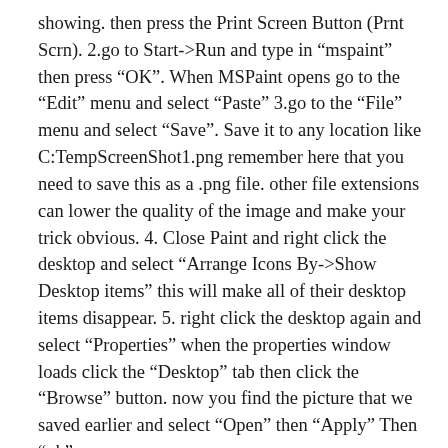showing. then press the Print Screen Button (Prnt Scrn). 2.go to Start->Run and type in “mspaint” then press “OK”. When MSPaint opens go to the “Edit” menu and select “Paste” 3.go to the “File” menu and select “Save”. Save it to any location like C:TempScreenShot1.png remember here that you need to save this as a .png file. other file extensions can lower the quality of the image and make your trick obvious. 4. Close Paint and right click the desktop and select “Arrange Icons By->Show Desktop items” this will make all of their desktop items disappear. 5. right click the desktop again and select “Properties” when the properties window loads click the “Desktop” tab then click the “Browse” button. now you find the picture that we saved earlier and select “Open” then “Apply” Then “ok”
This will make the person think they can click